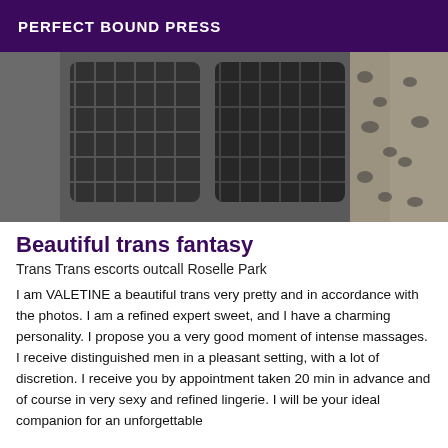PERFECT BOUND PRESS
[Figure (photo): Close-up photograph of legs wearing fishnet stockings with high heels on a animal-print fabric background]
Beautiful trans fantasy
Trans Trans escorts outcall Roselle Park
I am VALETINE a beautiful trans very pretty and in accordance with the photos. I am a refined expert sweet, and I have a charming personality. I propose you a very good moment of intense massages. I receive distinguished men in a pleasant setting, with a lot of discretion. I receive you by appointment taken 20 min in advance and of course in very sexy and refined lingerie. I will be your ideal companion for an unforgettable